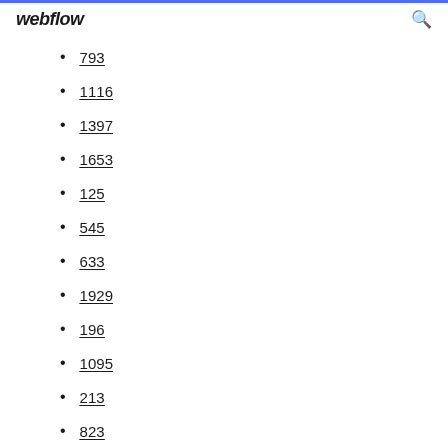webflow
793
1116
1397
1653
125
545
633
1929
196
1095
213
823